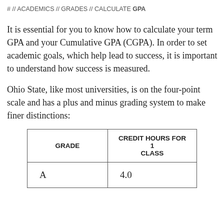# // ACADEMICS // GRADES // CALCULATE GPA
It is essential for you to know how to calculate your term GPA and your Cumulative GPA (CGPA). In order to set academic goals, which help lead to success, it is important to understand how success is measured.
Ohio State, like most universities, is on the four-point scale and has a plus and minus grading system to make finer distinctions:
| GRADE | CREDIT HOURS FOR 1 CLASS |
| --- | --- |
| A | 4.0 |